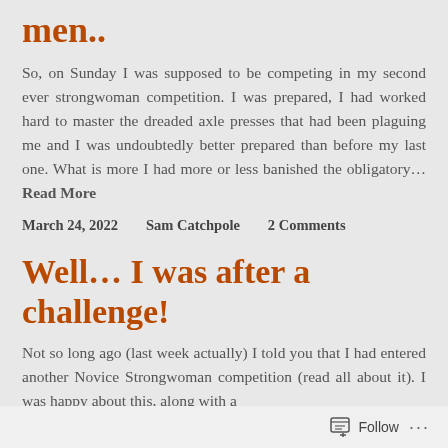men..
So, on Sunday I was supposed to be competing in my second ever strongwoman competition. I was prepared, I had worked hard to master the dreaded axle presses that had been plaguing me and I was undoubtedly better prepared than before my last one. What is more I had more or less banished the obligatory… Read More
March 24, 2022    Sam Catchpole    2 Comments
Well… I was after a challenge!
Not so long ago (last week actually) I told you that I had entered another Novice Strongwoman competition (read all about it). I was happy about this, along with a
Follow ...